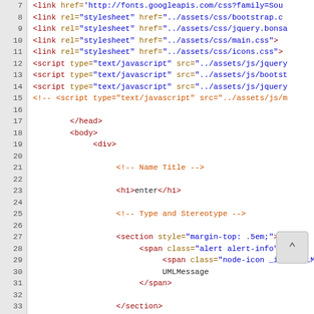[Figure (screenshot): Code editor screenshot showing HTML source code with syntax highlighting. Lines 7-43 are visible. Line numbers shown in gray left gutter. Code uses dark red for tags, olive/brown for attributes, blue for values, and orange-red for comments. Content shows HTML head/body structure with link and script tags, followed by body content with HTML comments and elements including h1, section, and span tags.]